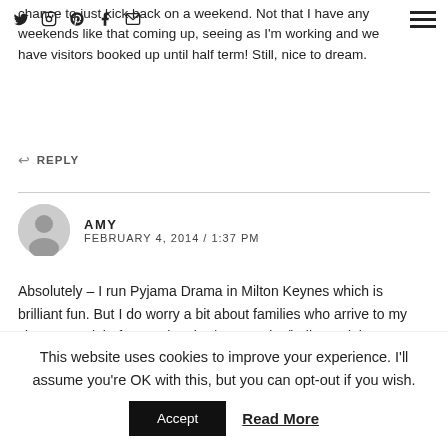chance to just kick back on a weekend. Not that I have any weekends like that coming up, seeing as I'm working and we have visitors booked up until half term! Still, nice to dream.
↩ REPLY
AMY
FEBRUARY 4, 2014 / 1:37 PM
Absolutely – I run Pyjama Drama in Milton Keynes which is brilliant fun. But I do worry a bit about families who arrive to my classes straight from swimming/gymnastics/ballet and then are heading straight out to rugby/football/pilates/music/Zumba etc. It must be exhausting for them, not to mention a strain on the bank account. Our weekend? DH and DD chill on Saturday morning while I teach,
This website uses cookies to improve your experience. I'll assume you're OK with this, but you can opt-out if you wish.
Accept  Read More